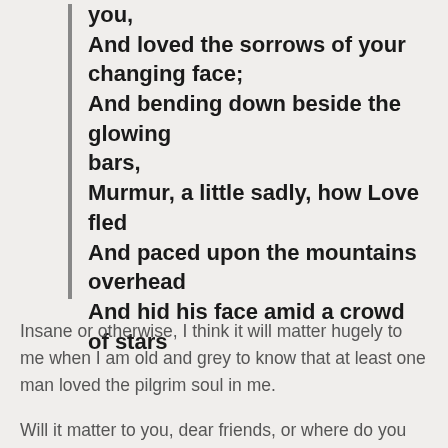you,
And loved the sorrows of your changing face;
And bending down beside the glowing bars,
Murmur, a little sadly, how Love fled
And paced upon the mountains overhead
And hid his face amid a crowd of stars
Insane or otherwise, I think it will matter hugely to me when I am old and grey to know that at least one man loved the pilgrim soul in me.
Will it matter to you, dear friends, or where do you stand, sit, lie on the question of romance and